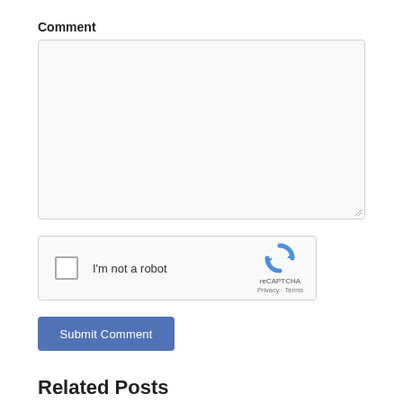Comment
[Figure (screenshot): Empty textarea input box for comment submission]
[Figure (screenshot): reCAPTCHA widget with checkbox labeled 'I'm not a robot' and reCAPTCHA logo with Privacy and Terms links]
[Figure (screenshot): Submit Comment button in blue]
Related Posts